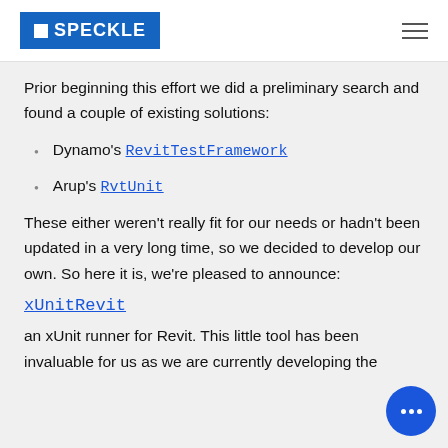SPECKLE
Prior beginning this effort we did a preliminary search and found a couple of existing solutions:
Dynamo's RevitTestFramework
Arup's RvtUnit
These either weren't really fit for our needs or hadn't been updated in a very long time, so we decided to develop our own. So here it is, we're pleased to announce:
xUnitRevit
an xUnit runner for Revit. This little tool has been invaluable for us as we are currently developing the